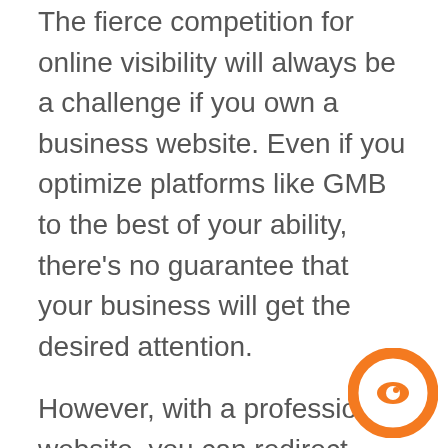The fierce competition for online visibility will always be a challenge if you own a business website. Even if you optimize platforms like GMB to the best of your ability, there's no guarantee that your business will get the desired attention.
However, with a professional website, you can redirect customers to your services exclusively. When you have a website, you can add a link to it from your GMB profile so that people can explore further.
A professional website helps in creating a positive impression on people's mind and instills trust in them. On your professional plumbing website, you can share information about your business...
[Figure (logo): Circular logo with orange ring and eye-like graphic on white background, bottom right corner]